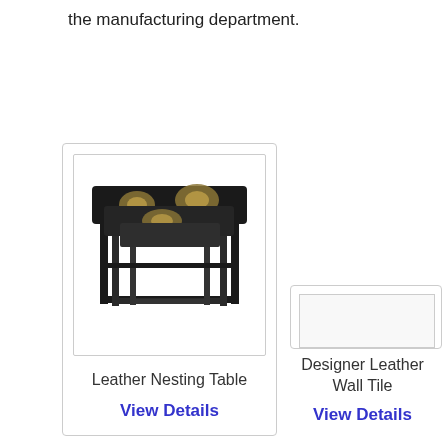the manufacturing department.
[Figure (photo): Black lacquered leather nesting tables with gold floral decoration, set of three tables nested together]
Leather Nesting Table
View Details
[Figure (photo): Designer Leather Wall Tile product image (partially visible, showing only top portion)]
Designer Leather Wall Tile
View Details